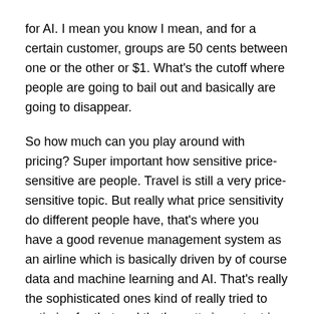for AI. I mean you know I mean, and for a certain customer, groups are 50 cents between one or the other or $1. What's the cutoff where people are going to bail out and basically are going to disappear.
So how much can you play around with pricing? Super important how sensitive price-sensitive are people. Travel is still a very price-sensitive topic. But really what price sensitivity do different people have, that's where you have a good revenue management system as an airline which is basically driven by of course data and machine learning and AI. That's really the sophisticated ones kind of really tried to optimize for that and that's pretty important in an industry like travel where the margins are not that steep.
Suresh: